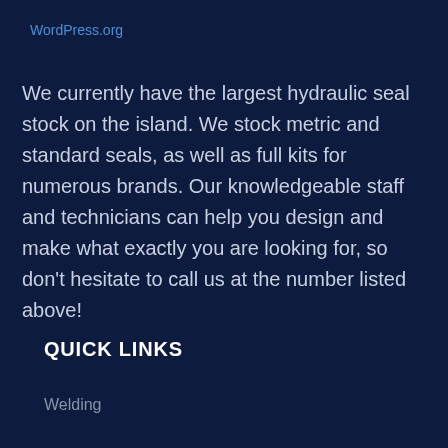WordPress.org
We currently have the largest hydraulic seal stock on the island. We stock metric and standard seals, as well as full kits for numerous brands. Our knowledgeable staff and technicians can help you design and make what exactly you are looking for, so don't hesitate to call us at the number listed above!
QUICK LINKS
Welding